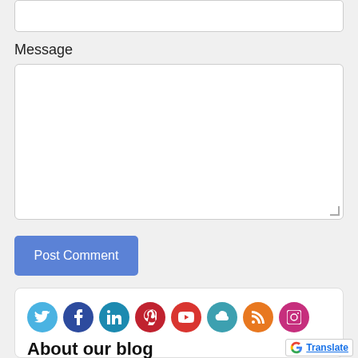[input field]
Message
[textarea]
Post Comment
[Figure (infographic): Row of 8 social media icon circles: Twitter (light blue), Facebook (dark blue), LinkedIn (teal), Pinterest (red), YouTube (red), Cloud (teal), RSS (orange), Instagram (pink/magenta)]
About our blog
Our agents write often to give you the latest insight...